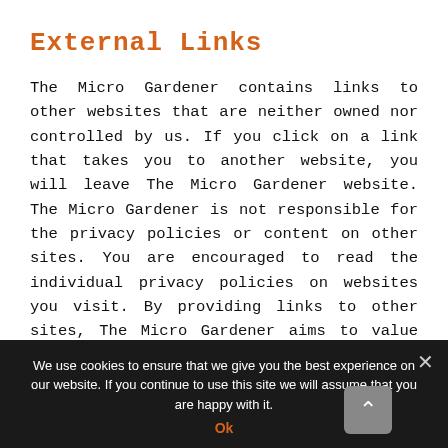External Links
The Micro Gardener contains links to other websites that are neither owned nor controlled by us. If you click on a link that takes you to another website, you will leave The Micro Gardener website. The Micro Gardener is not responsible for the privacy policies or content on other sites. You are encouraged to read the individual privacy policies on websites you visit. By providing links to other sites, The Micro Gardener aims to value add to your learning experience. We do not guarantee, approve, or
We use cookies to ensure that we give you the best experience on our website. If you continue to use this site we will assume that you are happy with it.
Ok